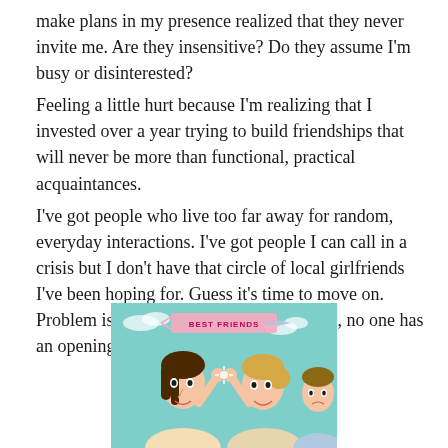make plans in my presence realized that they never invite me. Are they insensitive? Do they assume I'm busy or disinterested?
Feeling a little hurt because I'm realizing that I invested over a year trying to build friendships that will never be more than functional, practical acquaintances.
I've got people who live too far away for random, everyday interactions. I've got people I can call in a crisis but I don't have that circle of local girlfriends I've been hoping for. Guess it's time to move on. Problem is, surrounded by so many locals, no one has an opening for an 'everyday friend.'"
[Figure (illustration): Cartoon illustration showing two women facing each other doing a high-five, with a banner above reading 'BEST FRIENDS' and a third person visible in the background looking excluded. The background is light teal/blue.]